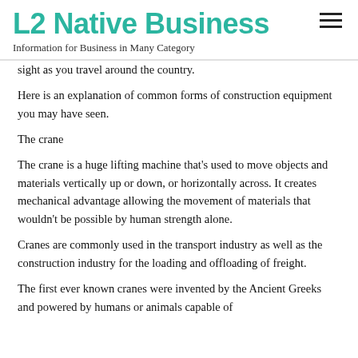L2 Native Business
Information for Business in Many Category
sight as you travel around the country.
Here is an explanation of common forms of construction equipment you may have seen.
The crane
The crane is a huge lifting machine that's used to move objects and materials vertically up or down, or horizontally across. It creates mechanical advantage allowing the movement of materials that wouldn't be possible by human strength alone.
Cranes are commonly used in the transport industry as well as the construction industry for the loading and offloading of freight.
The first ever known cranes were invented by the Ancient Greeks and powered by humans or animals capable of